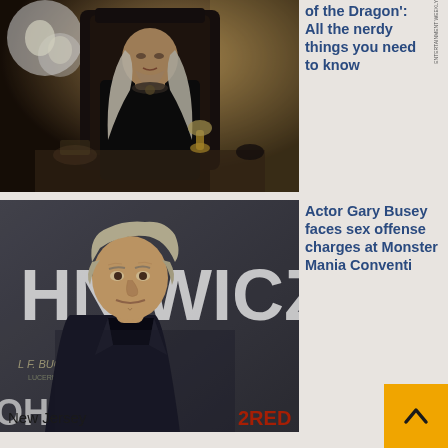[Figure (photo): A man with long white hair sitting on a dark throne, in a dark medieval setting with warm background lighting — scene from 'House of the Dragon']
of the Dragon': All the nerdy things you need to know
[Figure (photo): Actor Gary Busey at a John Wick 2 premiere event, wearing a dark suit, with large John Wick 2 signage behind him]
Actor Gary Busey faces sex offense charges at Monster Mania Conventi
New Jersey